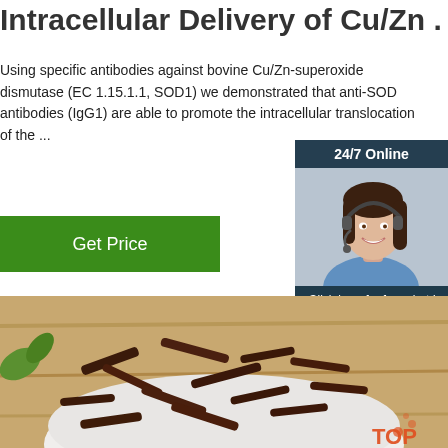Intracellular Delivery of Cu/Zn ...
Using specific antibodies against bovine Cu/Zn-superoxide dismutase (EC 1.15.1.1, SOD1) we demonstrated that anti-SOD antibodies (IgG1) are able to promote the intracellular translocation of the ...
[Figure (other): Green button labeled 'Get Price']
[Figure (photo): Customer service representative with headset, smiling, with '24/7 Online' header, 'Click here for free chat!' text, and an orange 'QUOTATION' button on dark blue sidebar]
[Figure (photo): Close-up photo of dark dried herb pieces (resembling dried bark or tea) in a white bowl on a wooden surface with green leaves visible. A 'TOP' badge is in the bottom right corner.]